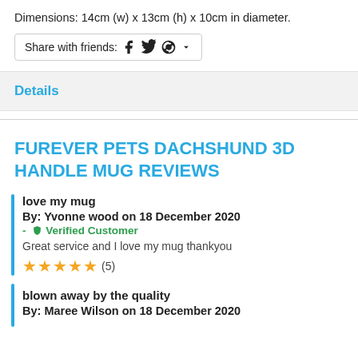Dimensions: 14cm (w) x 13cm (h) x 10cm in diameter.
Share with friends: [Facebook] [Twitter] [Pinterest] [dropdown]
Details
FUREVER PETS DACHSHUND 3D HANDLE MUG REVIEWS
love my mug
By: Yvonne wood on 18 December 2020
- Verified Customer
Great service and I love my mug thankyou
★★★★★ (5)
blown away by the quality
By: Maree Wilson on 18 December 2020